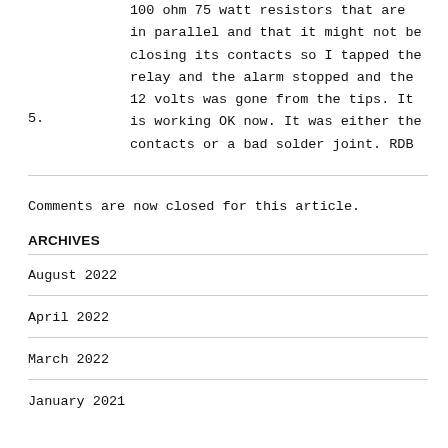100 ohm 75 watt resistors that are in parallel and that it might not be closing its contacts so I tapped the relay and the alarm stopped and the 12 volts was gone from the tips. It is working OK now. It was either the contacts or a bad solder joint. RDB 5.
Comments are now closed for this article.
ARCHIVES
August 2022
April 2022
March 2022
January 2021